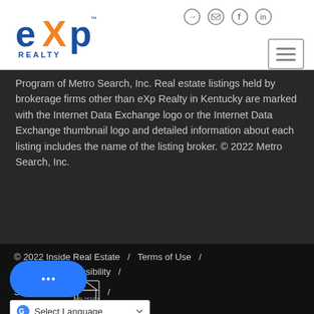[Figure (logo): eXp Realty logo in blue and orange]
Program of Metro Search, Inc. Real estate listings held by brokerage firms other than eXp Realty in Kentucky are marked with the Internet Data Exchange logo or the Internet Data Exchange thumbnail logo and detailed information about each listing includes the name of the listing broker. © 2022 Metro Search, Inc.
© 2022 Inside Real Estate / Terms of Use / Privacy / Accessibility / Statement / Equal Housing Opportunity / Select Language